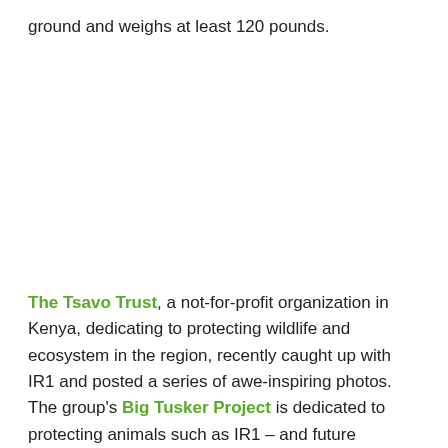ground and weighs at least 120 pounds.
The Tsavo Trust, a not-for-profit organization in Kenya, dedicating to protecting wildlife and ecosystem in the region, recently caught up with IR1 and posted a series of awe-inspiring photos. The group's Big Tusker Project is dedicated to protecting animals such as IR1 – and future hundred pounders from